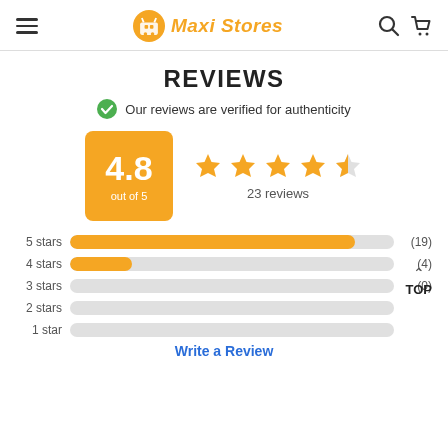Maxi Stores
REVIEWS
Our reviews are verified for authenticity
[Figure (infographic): Rating box showing 4.8 out of 5, with 4.5 orange stars and 23 reviews]
[Figure (bar-chart): Star rating distribution]
Write a Review